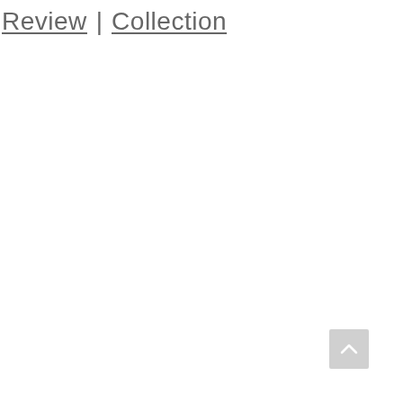Review | Collection
[Figure (other): Scroll-to-top button with upward chevron arrow, light gray square background, positioned bottom-right corner]